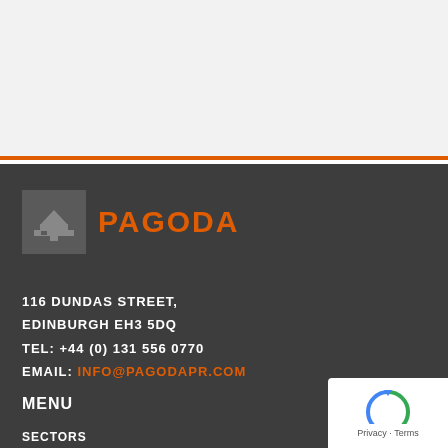[Figure (logo): Pagoda PR logo with grey square icon and orange PAGODA text]
116 DUNDAS STREET,
EDINBURGH EH3 5DQ
TEL: +44 (0) 131 556 0770
EMAIL: INFO@PAGODAPR.COM
MENU
SECTORS
PRACTICE AREAS